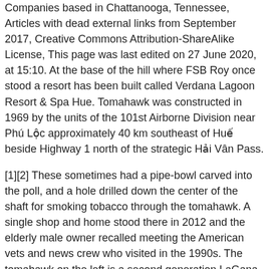Companies based in Chattanooga, Tennessee, Articles with dead external links from September 2017, Creative Commons Attribution-ShareAlike License, This page was last edited on 27 June 2020, at 15:10. At the base of the hill where FSB Roy once stood a resort has been built called Verdana Lagoon Resort & Spa Hue. Tomahawk was constructed in 1969 by the units of the 101st Airborne Division near Phú Lộc approximately 40 km southeast of Huế beside Highway 1 north of the strategic Hải Vân Pass.
[1][2] These sometimes had a pipe-bowl carved into the poll, and a hole drilled down the center of the shaft for smoking tobacco through the tomahawk. A single shop and home stood there in 2012 and the elderly male owner recalled meeting the American vets and news crew who visited in the 1990s. The tomahawk on the left is a second generation LaGana Hawk that I picked up off a 101st retired quartermaster in the early 70s. A tomahawk is a type of single-handed ax native to the many Indigenous peoples and nations of North America, traditionally resembling a hatchet with a straight shaft. Troops belonging to the same hometown were divided to prevent small towns in America loosing large numbers